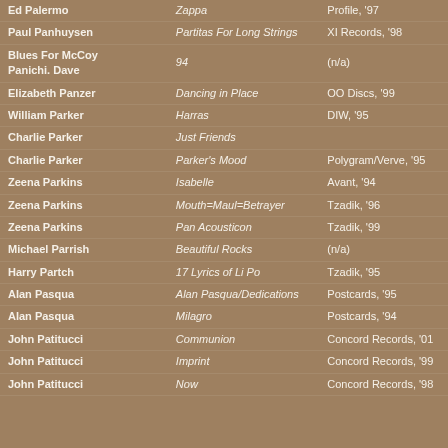| Artist | Album | Label |
| --- | --- | --- |
| Ed Palermo | Zappa | Profile, '97 |
| Paul Panhuysen | Partitas For Long Strings | XI Records, '98 |
| Blues For McCoy Panichi. Dave | 94 | (n/a) |
| Elizabeth Panzer | Dancing in Place | OO Discs, '99 |
| William Parker | Harras | DIW, '95 |
| Charlie Parker | Just Friends |  |
| Charlie Parker | Parker's Mood | Polygram/Verve, '95 |
| Zeena Parkins | Isabelle | Avant, '94 |
| Zeena Parkins | Mouth=Maul=Betrayer | Tzadik, '96 |
| Zeena Parkins | Pan Acousticon | Tzadik, '99 |
| Michael Parrish | Beautiful Rocks | (n/a) |
| Harry Partch | 17 Lyrics of Li Po | Tzadik, '95 |
| Alan Pasqua | Alan Pasqua/Dedications | Postcards, '95 |
| Alan Pasqua | Milagro | Postcards, '94 |
| John Patitucci | Communion | Concord Records, '01 |
| John Patitucci | Imprint | Concord Records, '99 |
| John Patitucci | Now | Concord Records, '98 |